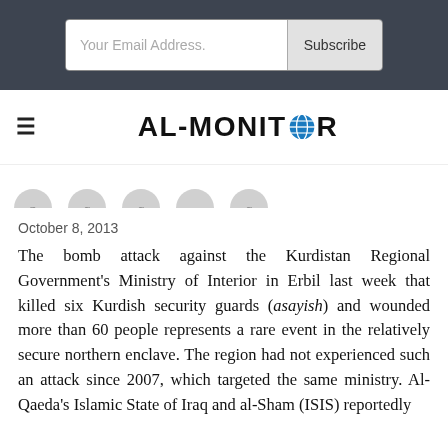Your Email Address.  Subscribe
[Figure (logo): AL-MONITOR logo with globe icon replacing the O]
[Figure (other): Row of social media sharing icons (partially cropped circles)]
October 8, 2013
The bomb attack against the Kurdistan Regional Government's Ministry of Interior in Erbil last week that killed six Kurdish security guards (asayish) and wounded more than 60 people represents a rare event in the relatively secure northern enclave. The region had not experienced such an attack since 2007, which targeted the same ministry. Al-Qaeda's Islamic State of Iraq and al-Sham (ISIS) reportedly